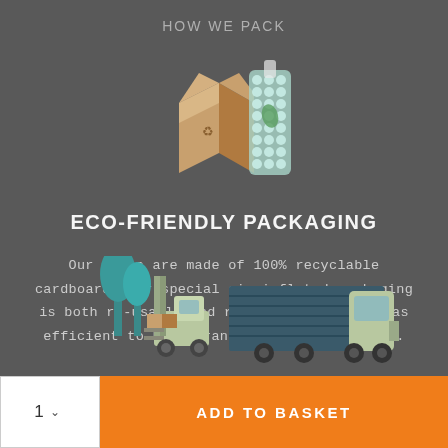HOW WE PACK
[Figure (illustration): Isometric illustration of an open cardboard box and a wine bottle wrapped in bubble wrap air-inflated packaging]
ECO-FRIENDLY PACKAGING
Our boxes are made of 100% recyclable cardboard. Our special air-inflated packaging is both re-usable and recyclable, as well as efficient to both transport and dispose of.
[Figure (illustration): Isometric illustration of a forklift loading boxes onto a delivery truck]
1  ∨   ADD TO BASKET